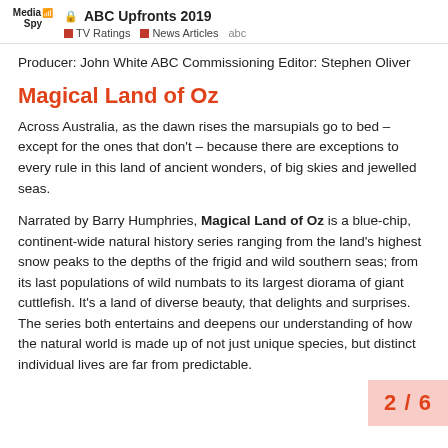ABC Upfronts 2019 | TV Ratings | News Articles | abc
Producer: John White ABC Commissioning Editor: Stephen Oliver
Magical Land of Oz
Across Australia, as the dawn rises the marsupials go to bed – except for the ones that don't – because there are exceptions to every rule in this land of ancient wonders, of big skies and jewelled seas.
Narrated by Barry Humphries, Magical Land of Oz is a blue-chip, continent-wide natural history series ranging from the land's highest snow peaks to the depths of the frigid and wild southern seas; from its last populations of wild numbats to its largest diorama of giant cuttlefish. It's a land of diverse beauty, that delights and surprises. The series both entertains and deepens our understanding of how the natural world is made up of not just unique species, but distinct individual lives are far from predictable.